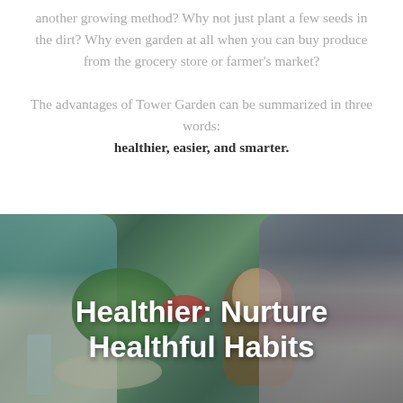another growing method? Why not just plant a few seeds in the dirt? Why even garden at all when you can buy produce from the grocery store or farmer's market?
The advantages of Tower Garden can be summarized in three words: healthier, easier, and smarter.
[Figure (photo): A family dining outdoors at a table with fresh produce, salad greens, tomatoes, and glasses of water. A young girl with long hair is eating. Lush green plants visible in the background. Overlay text reads 'Healthier: Nurture Healthful Habits'.]
Healthier: Nurture Healthful Habits